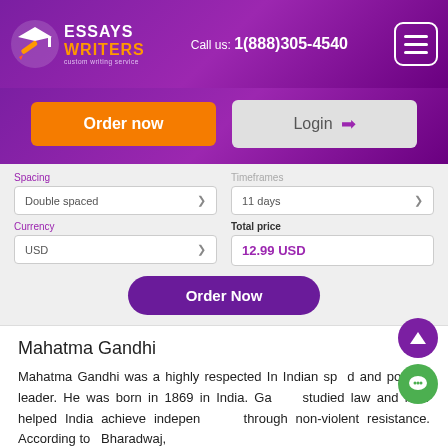Essays Writers — custom writing service | Call us: 1(888)305-4540
Order now | Login
Spacing: Double spaced | Timeframes: 11 days
Currency: USD | Total price: 12.99 USD
Order Now
Mahatma Gandhi
Mahatma Gandhi was a highly respected In Indian sp... and political leader. He was born in 1869 in India. Gandhi studied law and later helped India achieve indepen... through non-violent resistance. According to Bharadwaj,